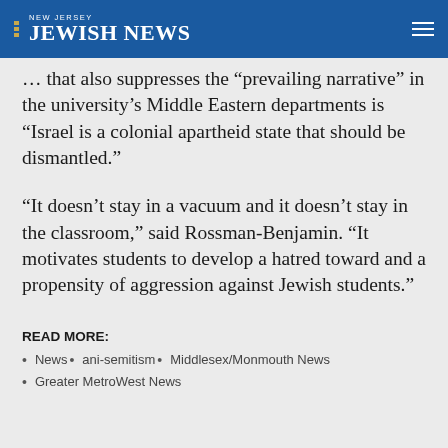NEW JERSEY JEWISH NEWS
“prevailing narrative” in the university’s Middle Eastern departments is “Israel is a colonial apartheid state that should be dismantled.”
“It doesn’t stay in a vacuum and it doesn’t stay in the classroom,” said Rossman-Benjamin. “It motivates students to develop a hatred toward and a propensity of aggression against Jewish students.”
READ MORE:
News
ani-semitism
Middlesex/Monmouth News
Greater MetroWest News